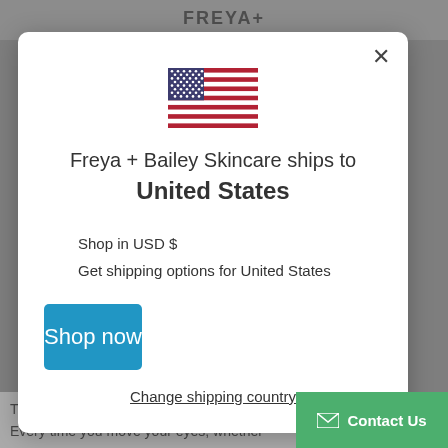FREYA+
[Figure (illustration): US flag emoji/icon centered in modal]
Freya + Bailey Skincare ships to United States
Shop in USD $
Get shipping options for United States
Shop now
Change shipping country
The skin around your eyes also gets a m
Every time you move your eyes, whether